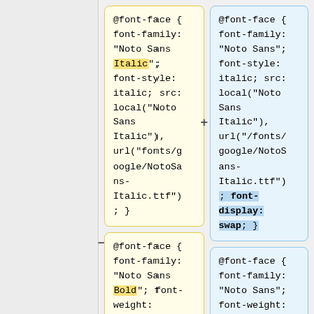@font-face { font-family: "Noto Sans Italic"; font-style: italic; src: local("Noto Sans Italic"), url("fonts/google/NotoSans-Italic.ttf"); }
@font-face { font-family: "Noto Sans"; font-style: italic; src: local("Noto Sans Italic"), url("/fonts/google/NotoSans-Italic.ttf"); font-display: swap; }
@font-face { font-family: "Noto Sans Bold"; font-weight: bold; src:
@font-face { font-family: "Noto Sans"; font-weight: bold; src: local("Noto